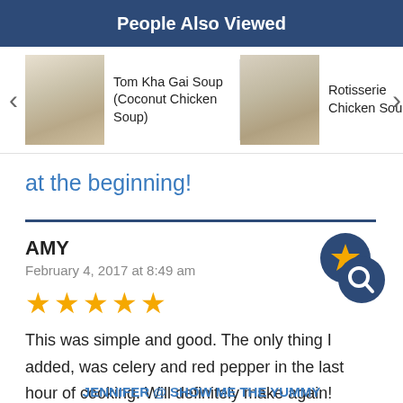People Also Viewed
[Figure (photo): Carousel showing: Tom Kha Gai Soup (Coconut Chicken Soup), Rotisserie Chicken Soup, Cra[ckpot Chicken] Noodle [Soup]]
at the beginning!
AMY
February 4, 2017 at 8:49 am
[Figure (infographic): Five gold stars rating and a review badge icon with star and magnifying glass]
This was simple and good. The only thing I added, was celery and red pepper in the last hour of cooking. Will definitely make again!
JENNIFER @ SHOW ME THE YUMMY